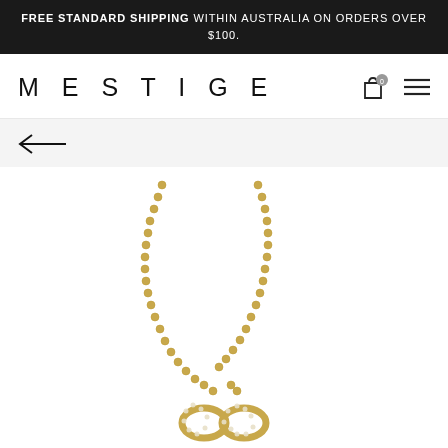FREE STANDARD SHIPPING WITHIN AUSTRALIA ON ORDERS OVER $100.
MESTIGE
[Figure (photo): Gold infinity necklace with crystal/diamond embellishments on a gold chain, product photo on white background]
← back navigation arrow